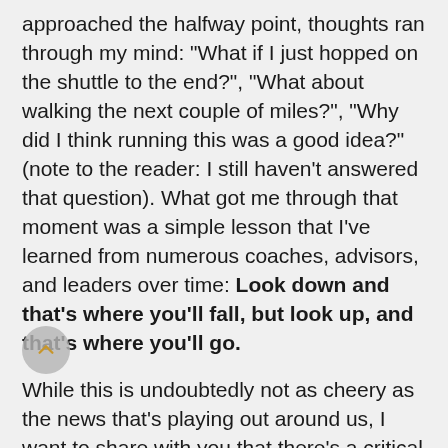approached the halfway point, thoughts ran through my mind: "What if I just hopped on the shuttle to the end?", "What about walking the next couple of miles?", "Why did I think running this was a good idea?" (note to the reader: I still haven't answered that question). What got me through that moment was a simple lesson that I've learned from numerous coaches, advisors, and leaders over time: Look down and that's where you'll fall, but look up, and that's where you'll go.

While this is undoubtedly not as cheery as the news that's playing out around us, I want to share with you that there's a critical reason I'm putting this piece out. We're collectively in "regression" – for most, our "surge capacity" is depleted. I believe that through candor, we can